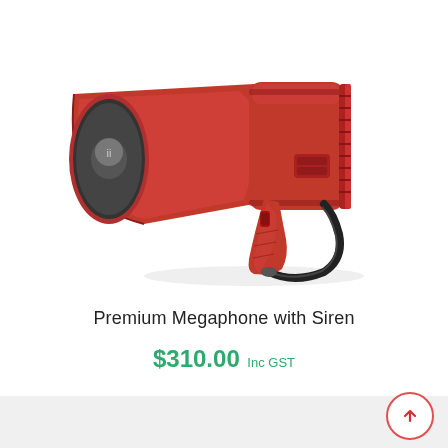[Figure (photo): A red megaphone with siren, pistol-grip handle, and black wrist strap, shown from a three-quarter angle against a white background.]
Premium Megaphone with Siren
$310.00 Inc GST